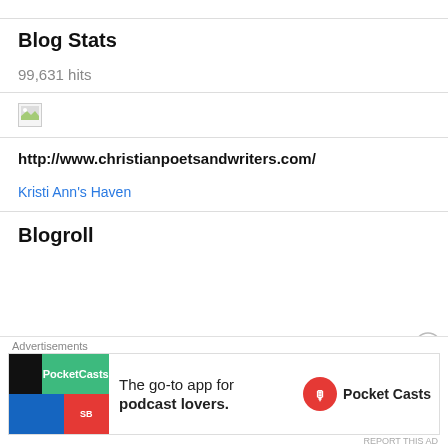Blog Stats
99,631 hits
[Figure (photo): Broken/missing image placeholder, small icon with landscape thumbnail]
http://www.christianpoetsandwriters.com/
Kristi Ann's Haven
Blogroll
Advertisements
[Figure (infographic): Pocket Casts advertisement banner: The go-to app for podcast lovers.]